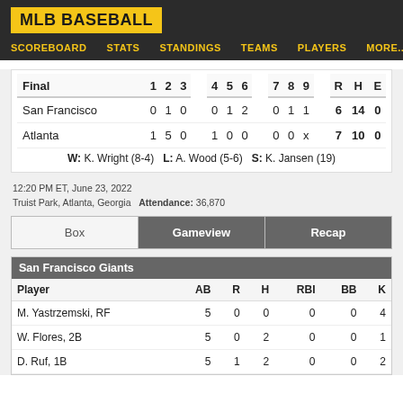MLB BASEBALL
SCOREBOARD  STATS  STANDINGS  TEAMS  PLAYERS  MORE....
| Final | 1 | 2 | 3 | 4 | 5 | 6 | 7 | 8 | 9 | R | H | E |
| --- | --- | --- | --- | --- | --- | --- | --- | --- | --- | --- | --- | --- |
| San Francisco | 0 | 1 | 0 | 0 | 1 | 2 | 0 | 1 | 1 | 6 | 14 | 0 |
| Atlanta | 1 | 5 | 0 | 1 | 0 | 0 | 0 | 0 | x | 7 | 10 | 0 |
W: K. Wright (8-4)  L: A. Wood (5-6)  S: K. Jansen (19)
12:20 PM ET, June 23, 2022
Truist Park, Atlanta, Georgia  Attendance: 36,870
Box | Gameview | Recap
| San Francisco Giants |  |  |  |  |  |  |
| --- | --- | --- | --- | --- | --- | --- |
| Player | AB | R | H | RBI | BB | K |
| M. Yastrzemski, RF | 5 | 0 | 0 | 0 | 0 | 4 |
| W. Flores, 2B | 5 | 0 | 2 | 0 | 0 | 1 |
| D. Ruf, 1B | 5 | 1 | 2 | 0 | 0 | 2 |